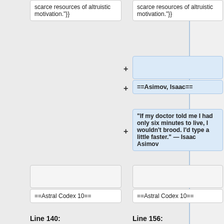scarce resources of altruistic motivation."}}
scarce resources of altruistic motivation."}}
==Asimov, Isaac==
“If my doctor told me I had only six minutes to live, I wouldn't brood. I'd type a little faster.” — Isaac Asimov
==Astral Codex 10==
==Astral Codex 10==
Line 140:
Line 156: